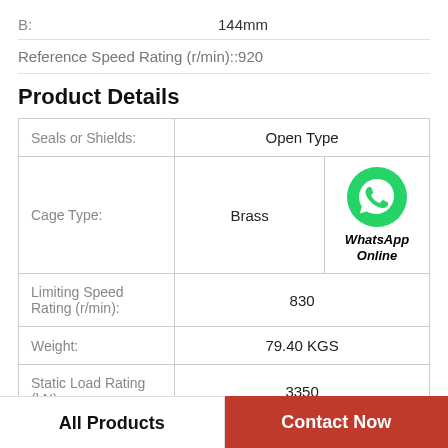B:    144mm
Reference Speed Rating (r/min)::920
Product Details
|  |  |  |
| --- | --- | --- |
| Seals or Shields: | Open Type |  |
| Cage Type: | Brass | WhatsApp Online |
| Limiting Speed Rating (r/min): | 830 |  |
| Weight: | 79.40 KGS |  |
| Static Load Rating (kN): | 3350 |  |
All Products
Contact Now